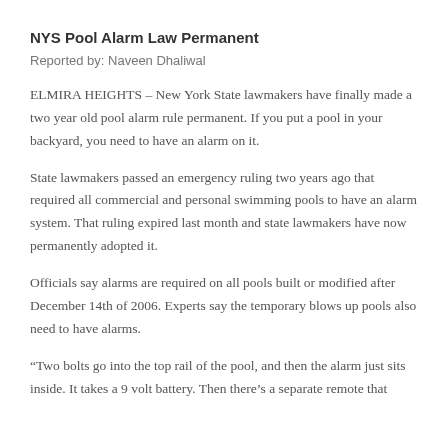NYS Pool Alarm Law Permanent
Reported by: Naveen Dhaliwal
ELMIRA HEIGHTS – New York State lawmakers have finally made a two year old pool alarm rule permanent. If you put a pool in your backyard, you need to have an alarm on it.
State lawmakers passed an emergency ruling two years ago that required all commercial and personal swimming pools to have an alarm system. That ruling expired last month and state lawmakers have now permanently adopted it.
Officials say alarms are required on all pools built or modified after December 14th of 2006. Experts say the temporary blows up pools also need to have alarms.
“Two bolts go into the top rail of the pool, and then the alarm just sits inside. It takes a 9 volt battery. Then there’s a separate remote that